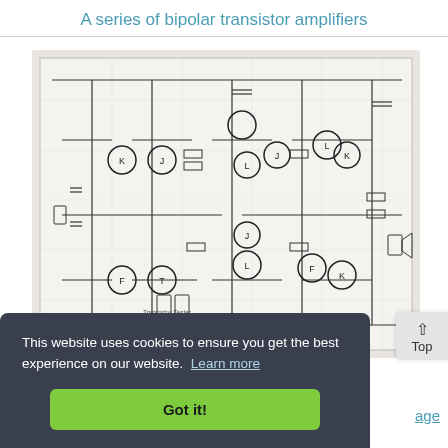A series of bipolar transistor amplifiers
[Figure (circuit-diagram): A scanned circuit schematic showing a bipolar transistor amplifier series with multiple transistors, resistors, capacitors, and interconnections on a grid layout. The circuit contains several NPN and PNP transistors arranged in a multi-stage amplifier configuration.]
This website uses cookies to ensure you get the best experience on our website. Learn more
Got it!